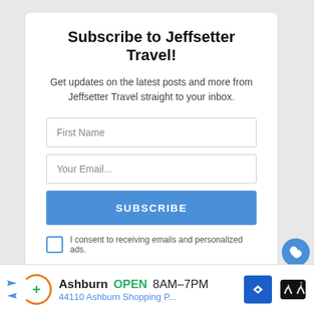Subscribe to Jeffsetter Travel!
Get updates on the latest posts and more from Jeffsetter Travel straight to your inbox.
First Name
Your Email...
SUBSCRIBE
I consent to receiving emails and personalized ads.
7
WHAT'S NEXT → 8 Best Travel Trailers to Li...
As I'm sure you might've guessed, these trailers are tiny. So much so that for the most part
Ashburn OPEN 8AM–7PM 44110 Ashburn Shopping P...